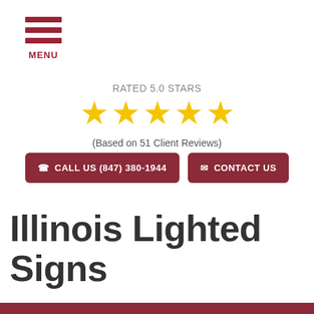MENU
RATED 5.0 STARS
[Figure (other): Five gold/yellow star rating icons in a row]
(Based on 51 Client Reviews)
CALL US (847) 380-1944
CONTACT US
Illinois Lighted Signs